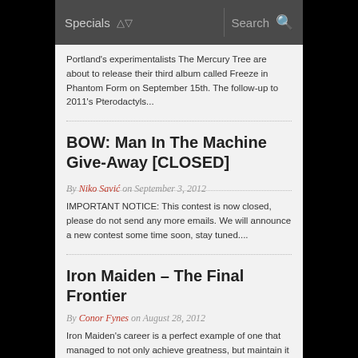Specials   Search
Portland's experimentalists The Mercury Tree are about to release their third album called Freeze in Phantom Form on September 15th. The follow-up to 2011's Pterodactyls...
BOW: Man In The Machine Give-Away [CLOSED]
By Niko Savić on September 3, 2012
IMPORTANT NOTICE: This contest is now closed, please do not send any more emails. We will announce a new contest some time soon, stay tuned....
Iron Maiden – The Final Frontier
By Conor Fynes on August 28, 2012
Iron Maiden's career is a perfect example of one that managed to not only achieve greatness, but maintain it with a relative consistency. Sure, there...